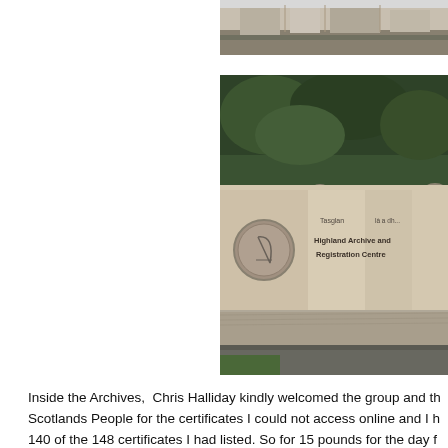[Figure (photo): Partial photo at top right, appears to show a building exterior, cropped]
[Figure (photo): Photo of the Highland Archive and Registration Centre sign — a stone monument sign with a circular logo and text reading 'Highland Archive and Registration Centre', set in a landscaped area with green trees behind]
Inside the Archives, Chris Halliday kindly welcomed the group and th... Scotlands People for the certificates I could not access online and I h... 140 of the 148 certificates I had listed. So for 15 pounds for the day f... pounds for the transport I received 140 certificates for my One Name...